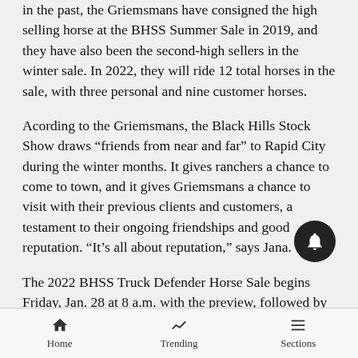in the past, the Griemsmans have consigned the high selling horse at the BHSS Summer Sale in 2019, and they have also been the second-high sellers in the winter sale. In 2022, they will ride 12 total horses in the sale, with three personal and nine customer horses.
Acording to the Griemsmans, the Black Hills Stock Show draws “friends from near and far” to Rapid City during the winter months. It gives ranchers a chance to come to town, and it gives Griemsmans a chance to visit with their previous clients and customers, a testament to their ongoing friendships and good reputation. “It’s all about reputation,” says Jana.
The 2022 BHSS Truck Defender Horse Sale begins Friday, Jan. 28 at 8 a.m. with the preview, followed by sale at 1 p.m. On Saturday, Jan. 29 the preview is at 8
Home   Trending   Sections